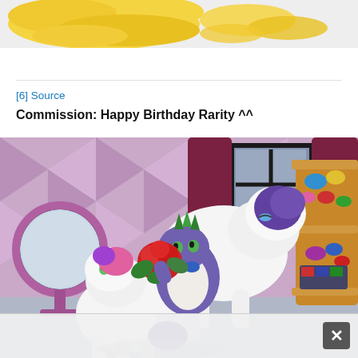[Figure (illustration): Partial illustration of a yellow pony (Fluttershy) showing mane and wings against a light gray background, cropped at top of page]
[6] Source
Commission: Happy Birthday Rarity ^^
[Figure (illustration): Fan art illustration showing Spike the dragon presenting red roses to Rarity the white unicorn pony inside Rarity's boutique. Sweetie Belle is also visible in the foreground. Background shows pink diamond-patterned walls, curtained windows, and a wooden shelf with fabric rolls. A round mirror is on the left wall.]